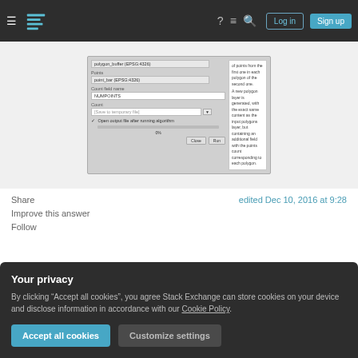Stack Exchange navigation bar with Log in and Sign up buttons
[Figure (screenshot): QGIS algorithm dialog showing polygon_buffer and point_bar layers, NUMPOINTS count field, save to temporary file output, with Close and Run buttons. Right panel shows description text about polygon layer generation.]
Share
Improve this answer
Follow
edited Dec 10, 2016 at 9:28
Your privacy
By clicking “Accept all cookies”, you agree Stack Exchange can store cookies on your device and disclose information in accordance with our Cookie Policy.
Accept all cookies
Customize settings